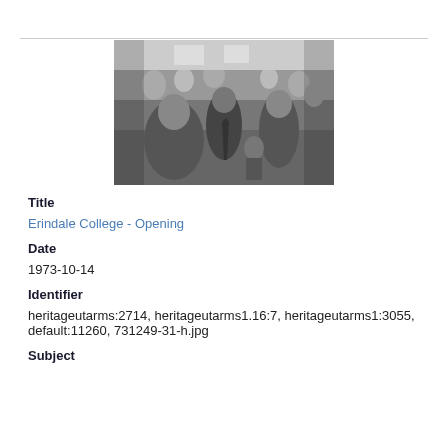[Figure (photo): Black and white photograph of a crowd of people at what appears to be an indoor college opening event, with people of various ages milling about.]
Title
Erindale College - Opening
Date
1973-10-14
Identifier
heritageutarms:2714, heritageutarms1.16:7, heritageutarms1:3055, default:11260, 731249-31-h.jpg
Subject